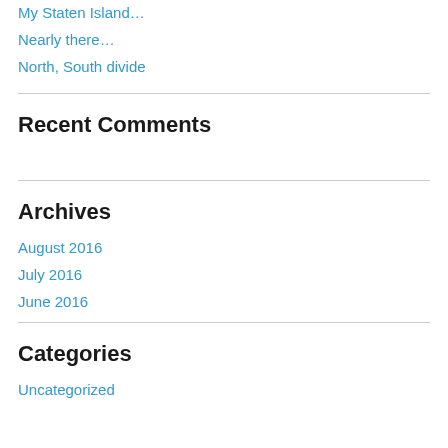My Staten Island…
Nearly there…
North, South divide
Recent Comments
Archives
August 2016
July 2016
June 2016
Categories
Uncategorized